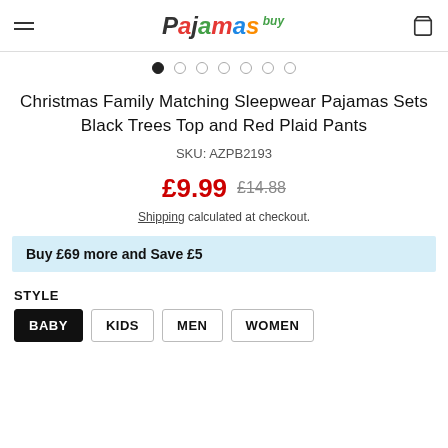BuyPajamas logo header with hamburger menu and cart icon
[Figure (other): Carousel dot navigation: 7 dots, first filled/active]
Christmas Family Matching Sleepwear Pajamas Sets Black Trees Top and Red Plaid Pants
SKU: AZPB2193
£9.99  £14.88
Shipping calculated at checkout.
Buy £69 more and Save £5
STYLE
BABY
KIDS
MEN
WOMEN